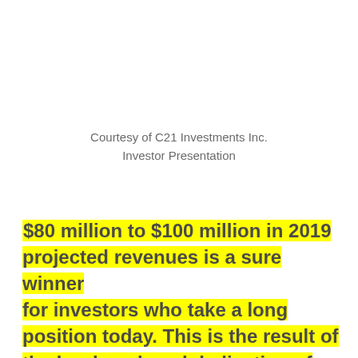Courtesy of C21 Investments Inc.
Investor Presentation
$80 million to $100 million in 2019 projected revenues is a sure winner for investors who take a long position today. This is the result of the hard work and dedication of C21 President, CEO, and Director Robert Cheney, who has assembled a top team of experts with literally